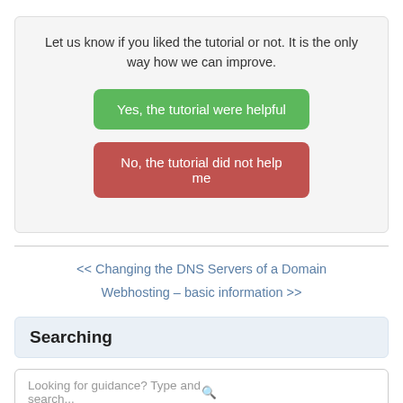Let us know if you liked the tutorial or not. It is the only way how we can improve.
Yes, the tutorial were helpful
No, the tutorial did not help me
<< Changing the DNS Servers of a Domain
Webhosting – basic information >>
Searching
Looking for guidance? Type and search...